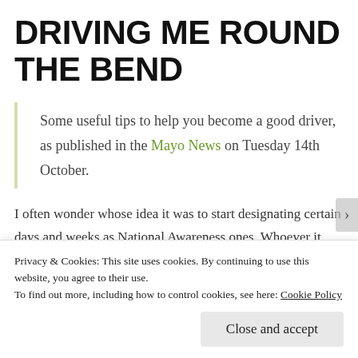DRIVING ME ROUND THE BEND
Some useful tips to help you become a good driver, as published in the Mayo News on Tuesday 14th October.
I often wonder whose idea it was to start designating certain days and weeks as National Awareness ones. Whoever it was, I am truly grateful to them, because
Privacy & Cookies: This site uses cookies. By continuing to use this website, you agree to their use.
To find out more, including how to control cookies, see here: Cookie Policy
Close and accept